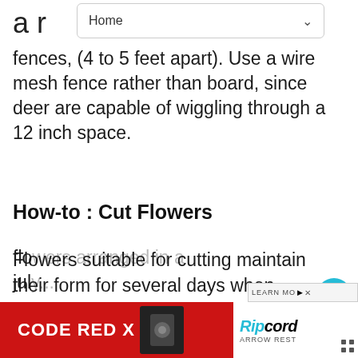Home
a r
fences, (4 to 5 feet apart). Use a wire mesh fence rather than board, since deer are capable of wiggling through a 12 inch space.
How-to : Cut Flowers
Flowers suitable for cutting maintain their form for several days when properly conditioned and placed in water or soaked oasis. A cut flower should have a fairly strong, long stem making it easy to work with in arrangements. There are many short stem flowers that make good cut flowers too, but they look best when flo... ...d in a jul...
[Figure (screenshot): UI overlay elements including heart/favourite button, share button with count 1, and What's Next thumbnail for Top 10 Largest Pumpkins article]
[Figure (screenshot): Advertisement banner: CODE RED X with Ripcord Arrow Rest product image, Learn More button]